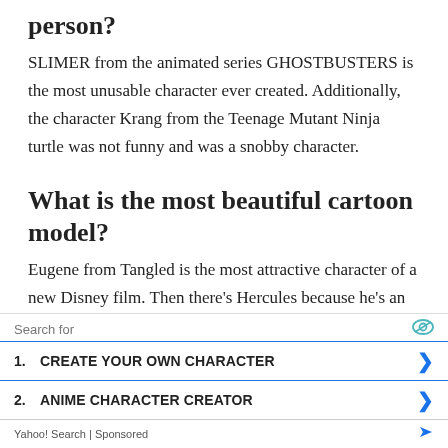person?
SLIMER from the animated series GHOSTBUSTERS is the most unusable character ever created. Additionally, the character Krang from the Teenage Mutant Ninja turtle was not funny and was a snobby character.
What is the most beautiful cartoon model?
Eugene from Tangled is the most attractive character of a new Disney film. Then there’s Hercules because he’s an attractive Greek hero from the Hercules cartoon. Adam from the movie Beauty and beast is a highly handsome
Search for
1. CREATE YOUR OWN CHARACTER
2. ANIME CHARACTER CREATOR
Yahoo! Search | Sponsored